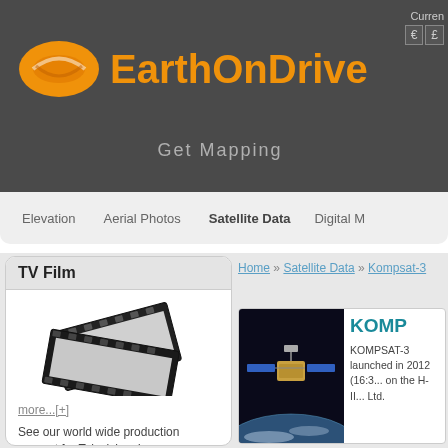Currency €  £
[Figure (logo): EarthOnDrive orange oval logo with brand name and Get Mapping tagline]
Elevation  Aerial Photos  Satellite Data  Digital M
TV Film
[Figure (photo): Film strip reel curling image in grayscale]
more...[+]
See our world wide production support for Television, Large
Home » Satellite Data » Kompsat-3
[Figure (photo): Satellite in space above Earth]
KOMP
KOMPSAT-3 launched in 2012 (16:3... on the H-II... Ltd.